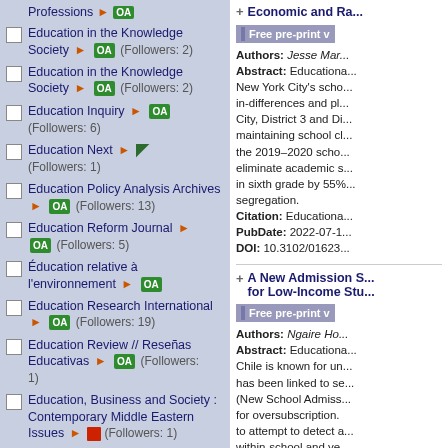Professions ▶ OA
Education in the Knowledge Society ▶ OA (Followers: 2)
Education in the Knowledge Society ▶ OA (Followers: 2)
Education Inquiry ▶ OA (Followers: 6)
Education Next ▶ (Followers: 1)
Education Policy Analysis Archives ▶ OA (Followers: 13)
Education Reform Journal ▶ OA (Followers: 5)
Éducation relative à l'environnement ▶ OA
Education Research International ▶ OA (Followers: 19)
Education Review // Reseñas Educativas ▶ OA (Followers: 1)
Education, Business and Society : Contemporary Middle Eastern Issues ▶ (Followers: 1)
+ Economic and Ra...
Free pre-print v...
Authors: Jesse Mar... Abstract: Educational... New York City's scho... in-differences and pl... City, District 3 and Di... maintaining school cl... the 2019–2020 scho... eliminate academic s... in sixth grade by 55%... segregation. Citation: Educationa... PubDate: 2022-07-1... DOI: 10.3102/01623...
+ A New Admission S... for Low-Income Stu...
Free pre-print v...
Authors: Ngaire Ho... Abstract: Educationa... Chile is known for un... has been linked to se... (New School Admiss... for oversubscription. to attempt to detect a... within-school and ye...